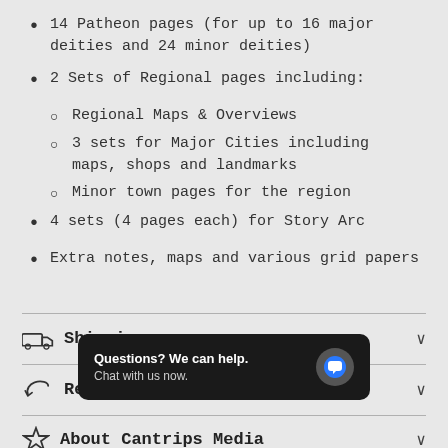14 Patheon pages (for up to 16 major deities and 24 minor deities)
2 Sets of Regional pages including:
Regional Maps & Overviews
3 sets for Major Cities including maps, shops and landmarks
Minor town pages for the region
4 sets (4 pages each) for Story Arc
Extra notes, maps and various grid papers
Shipping
Return P
[Figure (screenshot): Chat widget overlay: black rounded rectangle with text 'Questions? We can help.' and 'Chat with us now.' with a blue speech bubble icon]
About Cantrips Media